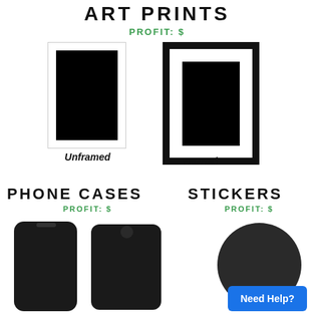ART PRINTS
PROFIT: $
[Figure (illustration): Unframed art print — white background with thin light-gray border, black rectangle inside representing the print]
Unframed
[Figure (illustration): Framed art print — thick black frame border, black rectangle inside representing the print]
Framed
PHONE CASES
PROFIT: $
STICKERS
PROFIT: $
[Figure (photo): Two dark phone cases side by side — one iPhone and one Samsung Galaxy style]
[Figure (photo): Dark circular sticker product shot]
Need Help?